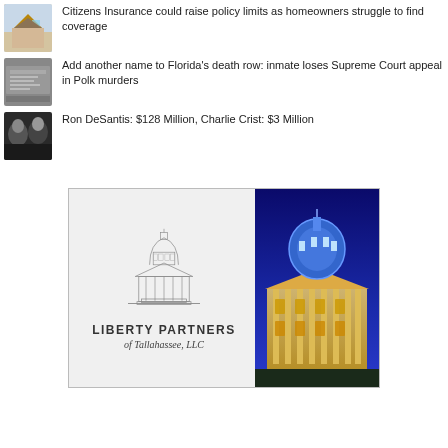Citizens Insurance could raise policy limits as homeowners struggle to find coverage
Add another name to Florida's death row: inmate loses Supreme Court appeal in Polk murders
Ron DeSantis: $128 Million, Charlie Crist: $3 Million
[Figure (illustration): Liberty Partners of Tallahassee, LLC advertisement featuring a line-drawing of the Florida State Capitol dome on the left side and a photograph of the illuminated Capitol building at night on the right side. Text reads LIBERTY PARTNERS in bold and 'of Tallahassee, LLC' in italic below.]